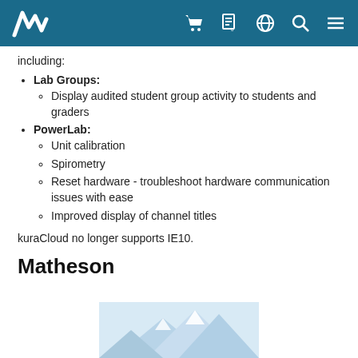Navigation bar with logo and icons
including:
Lab Groups:
Display audited student group activity to students and graders
PowerLab:
Unit calibration
Spirometry
Reset hardware - troubleshoot hardware communication issues with ease
Improved display of channel titles
kuraCloud no longer supports IE10.
Matheson
[Figure (illustration): Mountain landscape illustration at the bottom of the page]